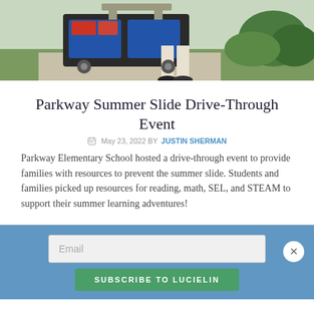[Figure (photo): Photo of person with a cart loaded with blue and red crates/bins at an outdoor drive-through event at Parkway Elementary School.]
Parkway Summer Slide Drive-Through Event
May 23, 2022 BY JUSTIN SHERMAN
Parkway Elementary School hosted a drive-through event to provide families with resources to prevent the summer slide. Students and families picked up resources for reading, math, SEL, and STEAM to support their summer learning adventures!
Email
SUBSCRIBE TO LUCIELIN